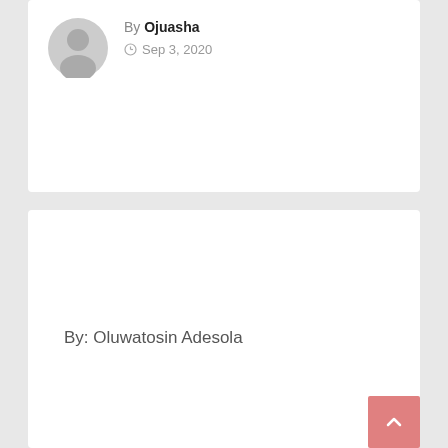[Figure (illustration): Grey circular avatar/profile icon placeholder]
By Ojuasha
Sep 3, 2020
By: Oluwatosin Adesola